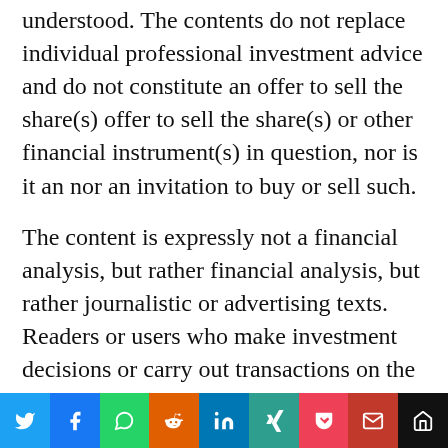understood. The contents do not replace individual professional investment advice and do not constitute an offer to sell the share(s) offer to sell the share(s) or other financial instrument(s) in question, nor is it an nor an invitation to buy or sell such.
The content is expressly not a financial analysis, but rather financial analysis, but rather journalistic or advertising texts. Readers or users who make investment decisions or carry out transactions on the basis decisions or transactions on the basis of the information provided here act completely at their own risk. There is no contractual relationship between between Apaton Finance GmbH and its readers or the users of its offers. users of its offers, as our information only refers to the company and not to the